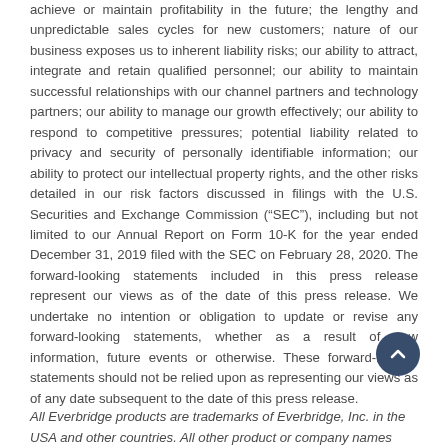achieve or maintain profitability in the future; the lengthy and unpredictable sales cycles for new customers; nature of our business exposes us to inherent liability risks; our ability to attract, integrate and retain qualified personnel; our ability to maintain successful relationships with our channel partners and technology partners; our ability to manage our growth effectively; our ability to respond to competitive pressures; potential liability related to privacy and security of personally identifiable information; our ability to protect our intellectual property rights, and the other risks detailed in our risk factors discussed in filings with the U.S. Securities and Exchange Commission (“SEC”), including but not limited to our Annual Report on Form 10-K for the year ended December 31, 2019 filed with the SEC on February 28, 2020. The forward-looking statements included in this press release represent our views as of the date of this press release. We undertake no intention or obligation to update or revise any forward-looking statements, whether as a result of new information, future events or otherwise. These forward-looking statements should not be relied upon as representing our views as of any date subsequent to the date of this press release.
All Everbridge products are trademarks of Everbridge, Inc. in the USA and other countries. All other product or company names